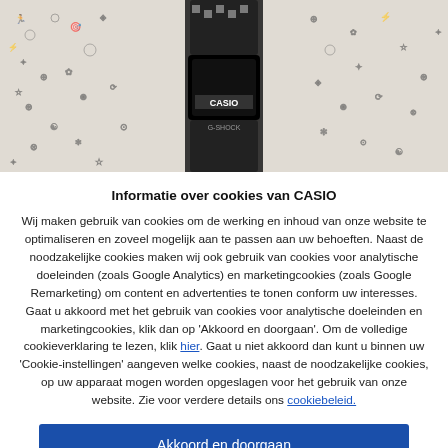[Figure (photo): Product photo of a Casio G-Shock watch against a black and white illustrated pattern background]
Informatie over cookies van CASIO
Wij maken gebruik van cookies om de werking en inhoud van onze website te optimaliseren en zoveel mogelijk aan te passen aan uw behoeften. Naast de noodzakelijke cookies maken wij ook gebruik van cookies voor analytische doeleinden (zoals Google Analytics) en marketingcookies (zoals Google Remarketing) om content en advertenties te tonen conform uw interesses. Gaat u akkoord met het gebruik van cookies voor analytische doeleinden en marketingcookies, klik dan op 'Akkoord en doorgaan'. Om de volledige cookieverklaring te lezen, klik hier. Gaat u niet akkoord dan kunt u binnen uw 'Cookie-instellingen' aangeven welke cookies, naast de noodzakelijke cookies, op uw apparaat mogen worden opgeslagen voor het gebruik van onze website. Zie voor verdere details ons cookiebeleid.
Akkoord en doorgaan
Cookie-instellingen